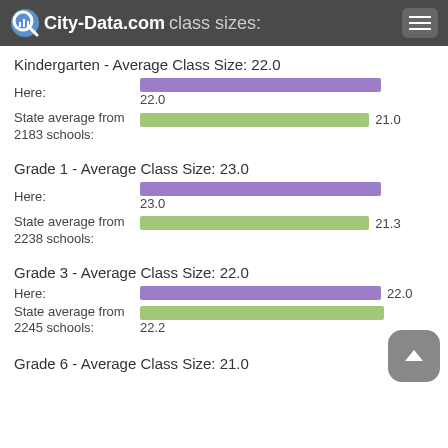City-Data.com class sizes:
Kindergarten - Average Class Size: 22.0
Here: 22.0
State average from 2183 schools: 21.0
[Figure (bar-chart): Kindergarten class sizes]
Grade 1 - Average Class Size: 23.0
Here: 23.0
State average from 2238 schools: 21.3
[Figure (bar-chart): Grade 1 class sizes]
Grade 3 - Average Class Size: 22.0
Here: 22.0
State average from 2245 schools: 22.2
[Figure (bar-chart): Grade 3 class sizes]
Grade 6 - Average Class Size: 21.0